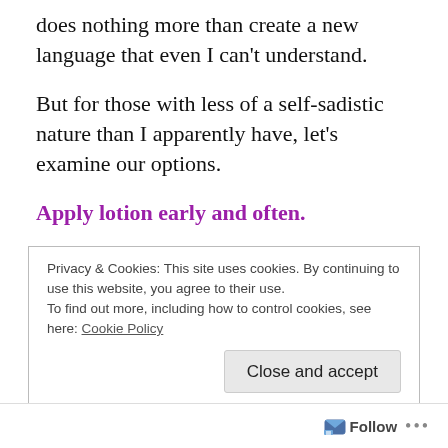does nothing more than create a new language that even I can't understand.
But for those with less of a self-sadistic nature than I apparently have, let's examine our options.
Apply lotion early and often.
This is obvious and something I do year round to just about every square inch of my body, sometimes because it's needed and sometimes because it smells pretty. But in the fall/winter, my skin soaks it up like a
Privacy & Cookies: This site uses cookies. By continuing to use this website, you agree to their use.
To find out more, including how to control cookies, see here: Cookie Policy
Close and accept
Follow ...